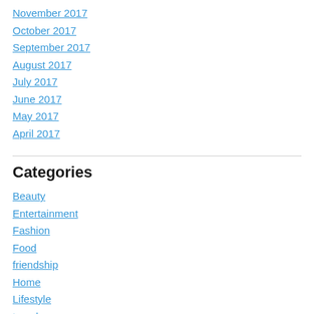November 2017
October 2017
September 2017
August 2017
July 2017
June 2017
May 2017
April 2017
Categories
Beauty
Entertainment
Fashion
Food
friendship
Home
Lifestyle
travel